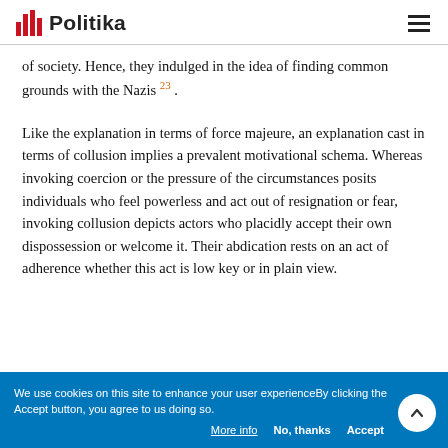Politika
of society. Hence, they indulged in the idea of finding common grounds with the Nazis 23 .
Like the explanation in terms of force majeure, an explanation cast in terms of collusion implies a prevalent motivational schema. Whereas invoking coercion or the pressure of the circumstances posits individuals who feel powerless and act out of resignation or fear, invoking collusion depicts actors who placidly accept their own dispossession or welcome it. Their abdication rests on an act of adherence whether this act is low key or in plain view.
We use cookies on this site to enhance your user experienceBy clicking the Accept button, you agree to us doing so.